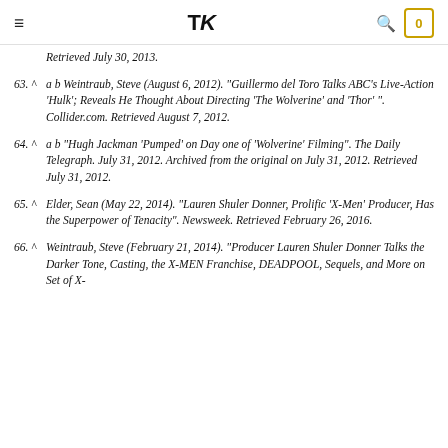≡  TK  🔍  0
Retrieved July 30, 2013.
63. ^ a b Weintraub, Steve (August 6, 2012). "Guillermo del Toro Talks ABC's Live-Action 'Hulk'; Reveals He Thought About Directing 'The Wolverine' and 'Thor'". Collider.com. Retrieved August 7, 2012.
64. ^ a b "Hugh Jackman 'Pumped' on Day one of 'Wolverine' Filming". The Daily Telegraph. July 31, 2012. Archived from the original on July 31, 2012. Retrieved July 31, 2012.
65. ^ Elder, Sean (May 22, 2014). "Lauren Shuler Donner, Prolific 'X-Men' Producer, Has the Superpower of Tenacity". Newsweek. Retrieved February 26, 2016.
66. ^ Weintraub, Steve (February 21, 2014). "Producer Lauren Shuler Donner Talks the Darker Tone, Casting, the X-MEN Franchise, DEADPOOL, Sequels, and More on Set of X-